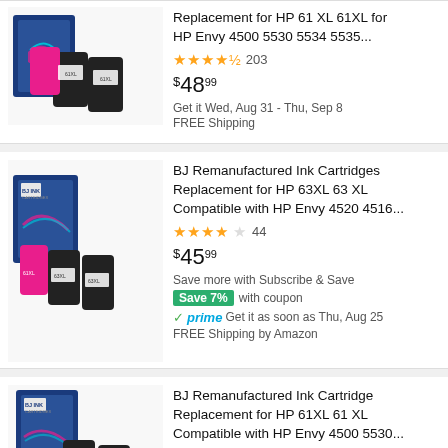[Figure (photo): Product image: BJ Remanufactured Ink Cartridges for HP 61 XL 61XL - 3 cartridges (pink, black, black) with blue/white box]
Replacement for HP 61 XL 61XL for HP Envy 4500 5530 5534 5535...
★★★★½ 203
$48.99
Get it Wed, Aug 31 - Thu, Sep 8
FREE Shipping
[Figure (photo): Product image: BJ Remanufactured Ink Cartridges for HP 63XL 63 XL - 3 cartridges (pink, black, black) with blue/white box]
BJ Remanufactured Ink Cartridges Replacement for HP 63XL 63 XL Compatible with HP Envy 4520 4516...
★★★★☆ 44
$45.99
Save more with Subscribe & Save
Save 7% with coupon
✓prime Get it as soon as Thu, Aug 25
FREE Shipping by Amazon
[Figure (photo): Product image: BJ Remanufactured Ink Cartridge for HP 61XL 61 XL - black cartridges with blue/white box]
BJ Remanufactured Ink Cartridge Replacement for HP 61XL 61 XL Compatible with HP Envy 4500 5530...
★★★★½ 102